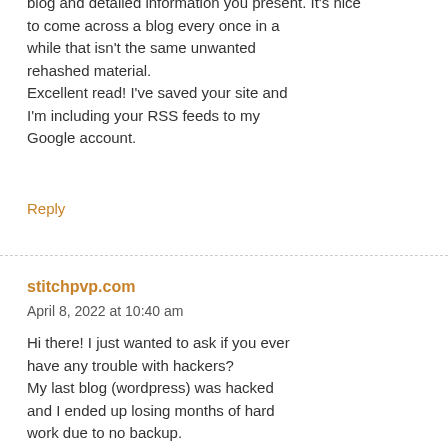blog and detailed information you present. It's nice to come across a blog every once in a while that isn't the same unwanted rehashed material. Excellent read! I've saved your site and I'm including your RSS feeds to my Google account.
Reply
stitchpvp.com
April 8, 2022 at 10:40 am
Hi there! I just wanted to ask if you ever have any trouble with hackers? My last blog (wordpress) was hacked and I ended up losing months of hard work due to no backup. Do you have any solutions to protect